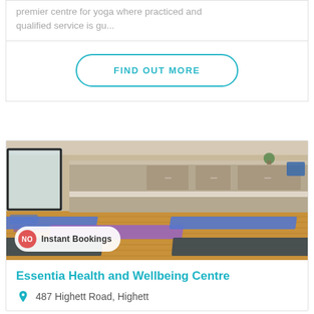premier centre for yoga where practiced and qualified service is gu...
FIND OUT MORE
[Figure (photo): Interior of a yoga studio showing multiple yoga mats (blue, purple, and dark grey) laid out on a hardwood floor. Large mirrors on the left wall and built-in cabinetry along the back wall. Badge overlay reads 'NO Instant Bookings'.]
Essentia Health and Wellbeing Centre
487 Highett Road, Highett